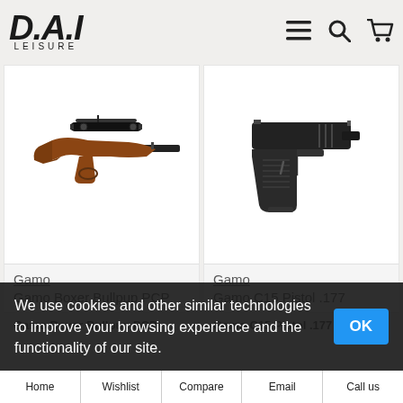D.A.I LEISURE
[Figure (photo): Gamo Boxer Bullpup PCP air rifle with wooden stock and scope mounted on top]
[Figure (photo): Gamo C15 Pistol .177 black semi-automatic style air pistol]
Gamo
Gamo Boxer Bullpup PCP
Gamo
Gamo C15 Pistol .177
Gamo Boxer Bullpup PCP
Gamo C15 Pistol .177
We use cookies and other similar technologies to improve your browsing experience and the functionality of our site.
Home | Wishlist | Compare | Email | Call us